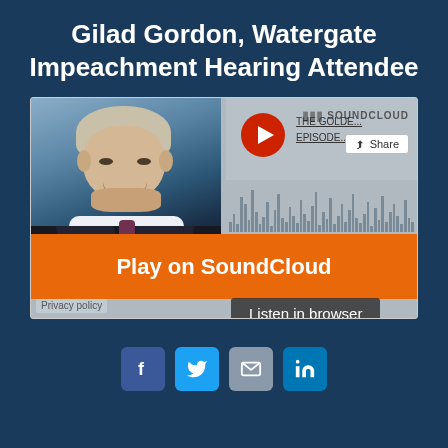Gilad Gordon, Watergate Impeachment Hearing Attendee
[Figure (screenshot): SoundCloud embedded audio player showing a podcast episode with Gilad Gordon. Contains a profile photo of a man in a suit, a red play button, track title 'THE GOLDE... EPISODE...', SoundCloud logo, Share button, waveform visualization, an orange 'Play on SoundCloud' button, and a 'Listen in browser' button. Privacy policy text at bottom left.]
[Figure (other): Social media sharing icons row: Facebook (blue), Twitter (light blue), Email/envelope (gray), LinkedIn (blue)]